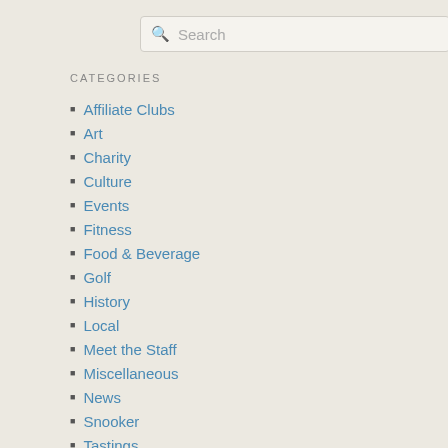[Figure (screenshot): Search bar with magnifying glass icon and placeholder text 'Search']
CATEGORIES
Affiliate Clubs
Art
Charity
Culture
Events
Fitness
Food & Beverage
Golf
History
Local
Meet the Staff
Miscellaneous
News
Snooker
Tastings
Technology
Travel
Uncategorized
Weddings
Wine